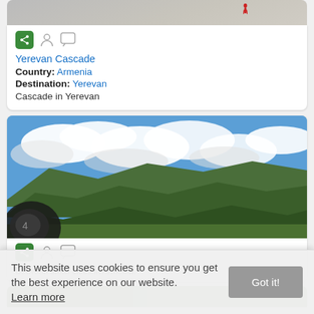[Figure (photo): Top strip of a photo showing steps or architecture, with a red figure visible]
Yerevan Cascade
Country: Armenia
Destination: Yerevan
Cascade in Yerevan
[Figure (photo): Landscape photo showing green mountains under dramatic cloudy blue sky, with a car side mirror visible bottom-left]
Between small cities in Armenia.
[Figure (photo): Partial view of another photo at the bottom of the page]
This website uses cookies to ensure you get the best experience on our website.
Learn more